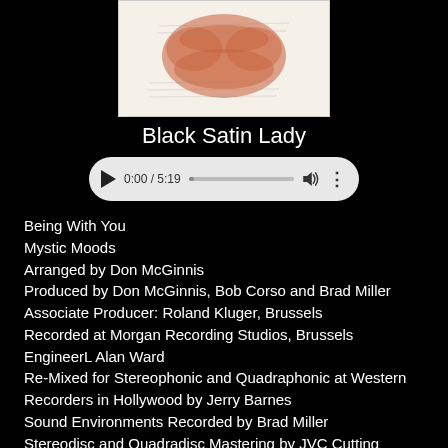[Figure (photo): Album cover artwork for Black Satin Lady - appears to show a lip print/kiss mark in reddish-brown on a cream/white background with handwritten text]
Black Satin Lady
[Figure (screenshot): Audio player widget showing 0:00 / 5:19 with play button, progress bar, volume and menu icons]
Being With You
Mystic Moods
Arranged by Don McGinnis
Produced by Don McGinnis, Bob Corso and Brad Miller
Associate Producer: Roland Kluger, Brussels
Recorded at Morgan Recording Studios, Brussels
EngineerL Alan Ward
Re-Mixed for Stereophonic and Quadraphonic at Western Recorders in Hollywood by Jerry Barnes
Sound Environments Recorded by Brad Miller
Stereodisc and Quadradisc Mastering by JVC Cutting Center, Stan Ricker - Los Angeles